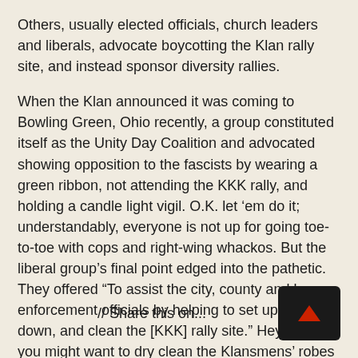Others, usually elected officials, church leaders and liberals, advocate boycotting the Klan rally site, and instead sponsor diversity rallies.
When the Klan announced it was coming to Bowling Green, Ohio recently, a group constituted itself as the Unity Day Coalition and advocated showing opposition to the fascists by wearing a green ribbon, not attending the KKK rally, and holding a candle light vigil. O.K. let ‘em do it; understandably, everyone is not up for going toe-to-toe with cops and right-wing whackos. But the liberal group’s final point edged into the pathetic. They offered “To assist the city, county and law enforcement officials by helping to set up, take down, and clean the [KKK] rally site.” Hey, folks. you might want to dry clean the Klansmens’ robes and shine the cops’ shoes while you’re at it.
// Share this on...
[Figure (other): Dark rounded square button with a small red upward-pointing triangle/arrow icon in the center, used as a scroll-to-top or share button.]